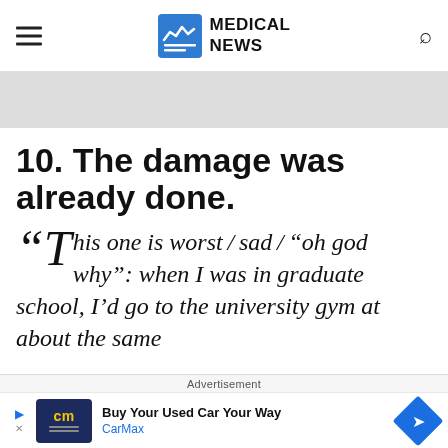MEDICAL NEWS
[Figure (other): Gray advertisement banner placeholder]
10. The damage was already done.
“This one is worst / sad / “oh god why”: when I was in graduate school, I’d go to the university gym at about the same
Advertisement
[Figure (other): CarMax advertisement: Buy Your Used Car Your Way]